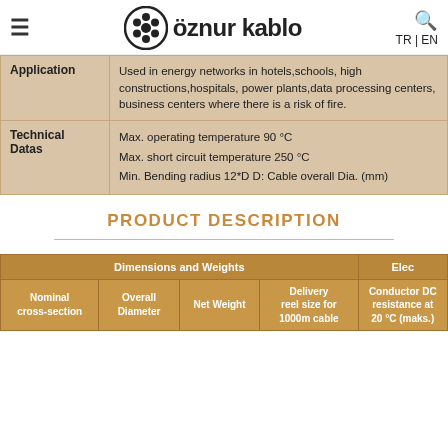öznur kablo
|  |  |
| --- | --- |
| Application | Used in energy networks in hotels,schools, high constructions,hospitals, power plants,data processing centers, business centers where there is a risk of fire. |
| Technical Datas | Max. operating temperature 90 °C
Max. short circuit temperature 250 °C
Min. Bending radius 12*D D: Cable overall Dia. (mm) |
PRODUCT DESCRIPTION
| Nominal cross-section | Overall Diameter | Net Weight | Delivery reel size for 1000m cable | Conductor DC resistance at 20 °C (maks.) |
| --- | --- | --- | --- | --- |